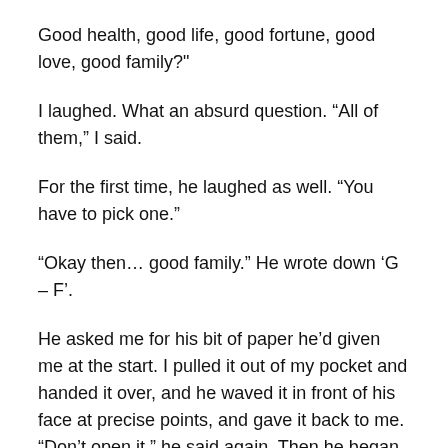Good health, good life, good fortune, good love, good family?"
I laughed. What an absurd question. “All of them,” I said.
For the first time, he laughed as well. “You have to pick one.”
“Okay then… good family.” He wrote down ‘G – F’.
He asked me for his bit of paper he’d given me at the start. I pulled it out of my pocket and handed it over, and he waved it in front of his face at precise points, and gave it back to me. “Don’t open it,” he said again. Then he began talking about how the numbers all added up and how if you combined this and that, I would figure out my fortune.
I was starting to finally got worried. I figured that he’d be